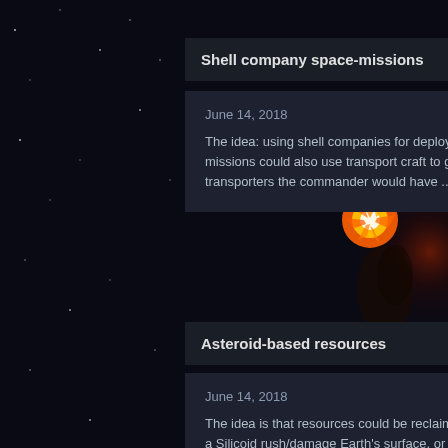Shell company space-missions
June 14, 2018

The idea: using shell companies for deploying civilian cargo into space to make money on the side. Such missions could also use transport craft to get other, more important resources into space.  Thus with limited transporters the commander would have ...
Asteroid-based resources
June 14, 2018

The idea is that resources could be reclaimed from asteroids that Silicoid arrive in, are sent to distract fire in a Silicoid rush/damage Earth's surface, or end up on a course to just pass by.H.U.R.K. transports could be deployed to carry a mining la...
Re: Capital ships humans-aliens
February 17, 2018